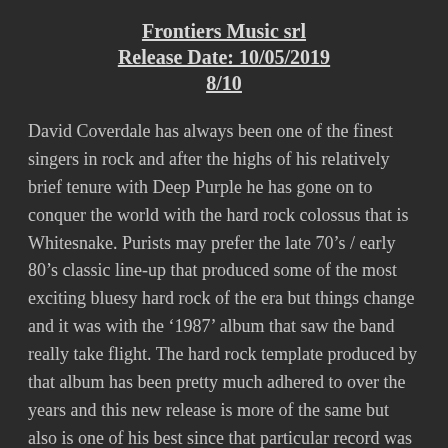Frontiers Music srl
Release Date: 10/05/2019
8/10
David Coverdale has always been one of the finest singers in rock and after the highs of his relatively brief tenure with Deep Purple he has gone on to conquer the world with the hard rock colossus that is Whitesnake. Purists may prefer the late 70’s / early 80’s classic line-up that produced some of the most exciting bluesy hard rock of the era but things change and it was with the ‘1987’ album that saw the band really take flight. The hard rock template produced by that album has been pretty much adhered to over the years and this new release is more of the same but also is one of his best since that particular record was released. Whilst the line-up seems to have rotated on a constant merry go round and there is a really audible roughness in